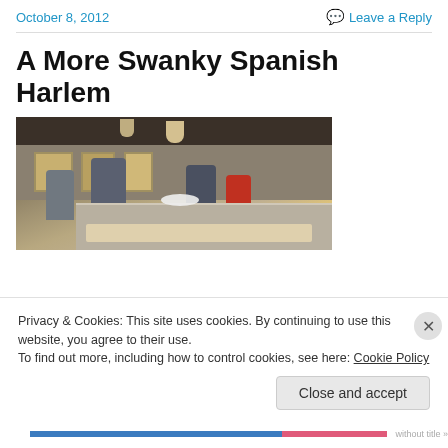October 8, 2012   Leave a Reply
A More Swanky Spanish Harlem
[Figure (photo): Interior of a restaurant or café in Spanish Harlem with people at a counter, display case with food, pendant lighting, and wood-toned walls.]
Privacy & Cookies: This site uses cookies. By continuing to use this website, you agree to their use.
To find out more, including how to control cookies, see here: Cookie Policy
Close and accept